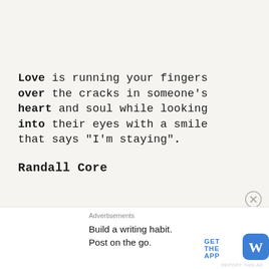Love is running your fingers over the cracks in someone's heart and soul while looking into their eyes with a smile that says "I'm staying".
Randall Core
[Figure (other): Close/dismiss ad button (circled X icon)]
Advertisements
Build a writing habit.
Post on the go.
GET THE APP
[Figure (logo): WordPress logo — blue rounded square with W]
REPORT THIS AD